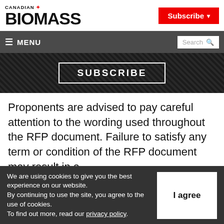[Figure (logo): Canadian Biomass magazine logo with maple leaf and red Subscribe button]
≡ MENU   Search 🔍
[Figure (screenshot): Banner image with dark biomass background and SUBSCRIBE button outline]
Proponents are advised to pay careful attention to the wording used throughout the RFP document. Failure to satisfy any term or condition of the RFP document may result in a
We are using cookies to give you the best experience on our website.
By continuing to use the site, you agree to the use of cookies.
To find out more, read our privacy policy.